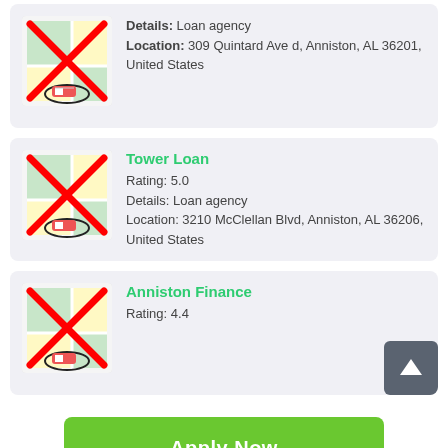Details: Loan agency
Location: 309 Quintard Ave d, Anniston, AL 36201, United States
Tower Loan
Rating: 5.0
Details: Loan agency
Location: 3210 McClellan Blvd, Anniston, AL 36206, United States
Anniston Finance
Rating: 4.4
Apply Now
Applying does NOT affect your credit score!
No credit check to apply.